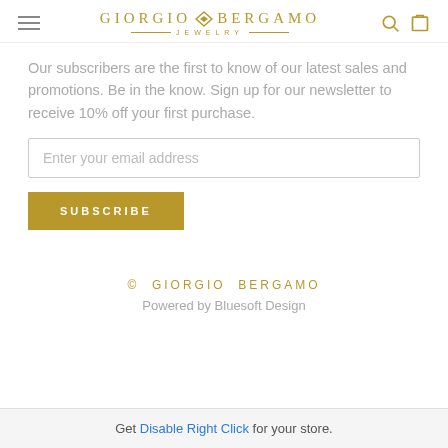Giorgio Bergamo Jewelry
Our subscribers are the first to know of our latest sales and promotions. Be in the know. Sign up for our newsletter to receive 10% off your first purchase.
Enter your email address
SUBSCRIBE
© GIORGIO BERGAMO
Powered by Bluesoft Design
Get Disable Right Click for your store.